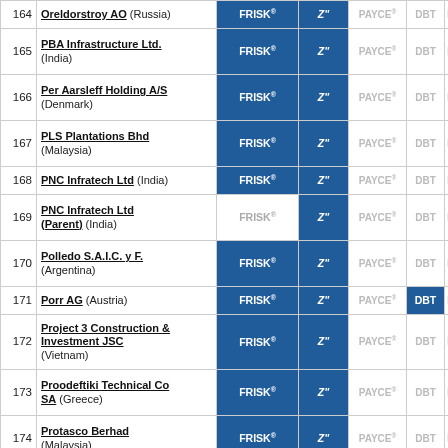| # | Company | FRISK® | Z" | PAYCE® | DBT | Moody |
| --- | --- | --- | --- | --- | --- | --- |
| 164 | Oreldorstroy AO (Russia) | FRISK® | Z" | PAYCE® | DBT | Moody |
| 165 | PBA Infrastructure Ltd. (India) | FRISK® | Z" | PAYCE® | DBT | Moody |
| 166 | Per Aarsleff Holding A/S (Denmark) | FRISK® | Z" | PAYCE® | DBT | Moody |
| 167 | PLS Plantations Bhd (Malaysia) | FRISK® | Z" | PAYCE® | DBT | Moody |
| 168 | PNC Infratech Ltd (India) | FRISK® | Z" | PAYCE® | DBT | Moody |
| 169 | PNC Infratech Ltd (Parent) (India) | FRISK® | Z" | PAYCE® | DBT | Moody |
| 170 | Polledo S.A.I.C. y F. (Argentina) | FRISK® | Z" | PAYCE® | DBT | Moody |
| 171 | Porr AG (Austria) | FRISK® | Z" | PAYCE® | DBT | Moody |
| 172 | Project 3 Construction & Investment JSC (Vietnam) | FRISK® | Z" | PAYCE® | DBT | Moody |
| 173 | Proodeftiki Technical Co SA (Greece) | FRISK® | Z" | PAYCE® | DBT | Moody |
| 174 | Protasco Berhad (Malaysia) | FRISK® | Z" | PAYCE® | DBT | Moody |
| 175 | Putevi a.d. Uzice | FRISK® | Z" | PAYCE® | DBT | Moody |